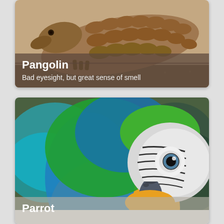[Figure (photo): Close-up photo of a pangolin showing its scaled body and head, in sandy/brown tones]
Pangolin
Bad eyesight, but great sense of smell
[Figure (photo): Close-up photo of a blue-and-yellow macaw parrot showing its colorful feathers, beak, and eye]
Parrot